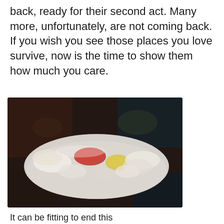back, ready for their second act. Many more, unfortunately, are not coming back. If you wish you see those places you love survive, now is the time to show them how much you care.
[Figure (photo): A blurry photograph of a plate of food on a dark background, showing what appears to be various dishes including items with red, yellow, and white colors arranged on a white plate.]
It can be fitting to end this